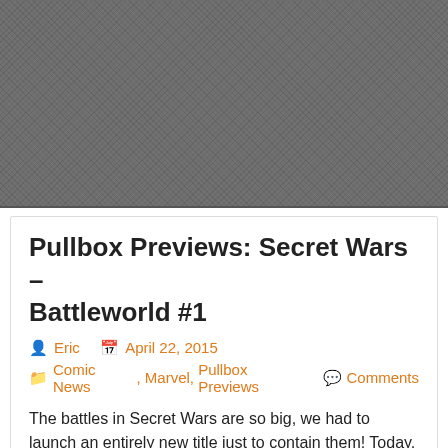[Figure (other): Gray textured/hatched background area, placeholder image region]
Pullbox Previews: Secret Wars – Battleworld #1
Eric  April 22, 2015  Comic News, Marvel, Pullbox Previews  Comments
The battles in Secret Wars are so big, we had to launch an entirely new title just to contain them! Today, Marvel is pleased to present a new peek inside SECRET WARS